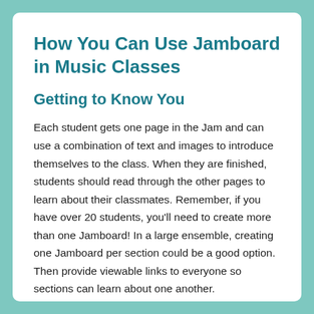How You Can Use Jamboard in Music Classes
Getting to Know You
Each student gets one page in the Jam and can use a combination of text and images to introduce themselves to the class. When they are finished, students should read through the other pages to learn about their classmates. Remember, if you have over 20 students, you'll need to create more than one Jamboard! In a large ensemble, creating one Jamboard per section could be a good option. Then provide viewable links to everyone so sections can learn about one another.